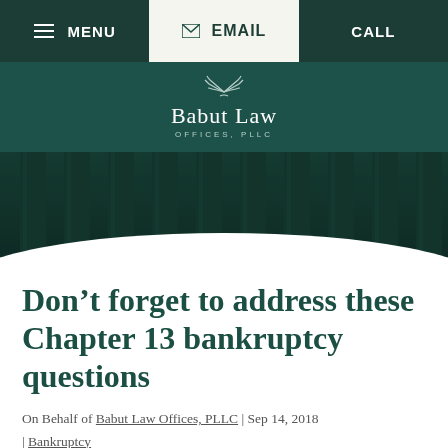MENU | Email | CALL
[Figure (logo): Babut Law Offices, PLLC logo with laurel wreath emblem on dark teal background]
[Figure (photo): Dark teal-tinted photo of classical stone columns (Greek/Roman style pillars) with a white curved cutout at the bottom]
Don't forget to address these Chapter 13 bankruptcy questions
On Behalf of Babut Law Offices, PLLC | Sep 14, 2018 | Bankruptcy